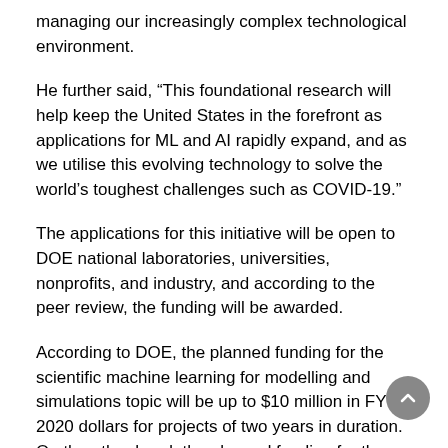managing our increasingly complex technological environment.
He further said, “This foundational research will help keep the United States in the forefront as applications for ML and AI rapidly expand, and as we utilise this evolving technology to solve the world’s toughest challenges such as COVID-19.”
The applications for this initiative will be open to DOE national laboratories, universities, nonprofits, and industry, and according to the peer review, the funding will be awarded.
According to DOE, the planned funding for the scientific machine learning for modelling and simulations topic will be up to $10 million in FY 2020 dollars for projects of two years in duration. On the other hand, the planned funding for the artificial intelligence and decision support for complex systems topic will be up to $20 million, with up to $7 million in FY 2020 dollars and out-year funding contingent on congressional appropriations.